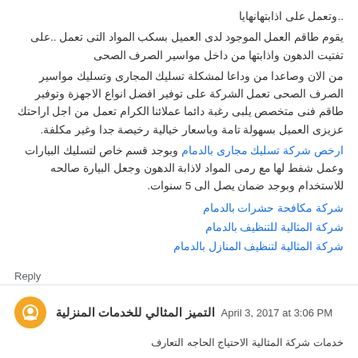..وتعمل على اذابتهانهايا
يقوم طاقم العمل الموجود لدى العميل بسكب المواد التى تعمل ..على تفتيت الدهون واذابتها من داخل مواسير الصرف الصحى
من الان وصاعدا من وداعا لمشكلة تسليك المجارى وتسليك مواسير الصرف الصحى تعمل الشركة على توفير افضل انواع الاجهزة وتوفير طاقم فنى متخصص يلبى رغبة دائما عملائنا الكرام تعمل من اجل اراحتك عزيزى العميل بسهولة تامة وباسعار خيالية رخيصة جدا وغير مكلفة.
ارخص شركة تسليك مجارى بالدمام وبوجد قسم خاص لتسليك البيارات وعمل شفط لها مع رمى المواد لاذابة الدهون وجعل البيارة صالحه للاستخدام وبوجد ضمان يصل الى 5 سنوات.
شركة مكافحة حشرات بالدمام
شركة المثالية للتنظيف بالدمام
شركة المثالية لتنظيف المنازل بالدمام
Reply
التميز المثالي للخدمات المنزلية April 3, 2017 at 3:06 PM
خدمات شركة المثالية الاحتياج الحاجه التعارف